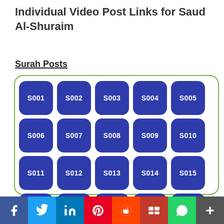Individual Video Post Links for Saud Al-Shuraim
Surah Posts
[Figure (infographic): Grid of 25 blue rounded buttons labeled S001 through S025, inside a green-bordered rounded rectangle container]
[Figure (infographic): Social share bar with icons: Facebook, Twitter, LinkedIn, Pinterest, Reddit, Mix, WhatsApp, More]